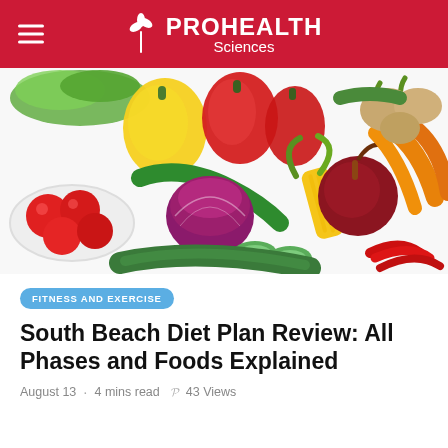PROHEALTH Sciences
[Figure (photo): Colorful assortment of fresh vegetables including red and yellow bell peppers, tomatoes, red onions, corn, beets, cucumbers, carrots, lettuce, and chili peppers arranged on a white background.]
FITNESS AND EXERCISE
South Beach Diet Plan Review: All Phases and Foods Explained
August 13  ·  4 mins read  𝘗 43 Views